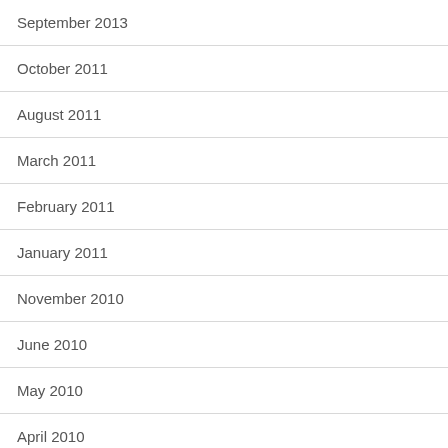September 2013
October 2011
August 2011
March 2011
February 2011
January 2011
November 2010
June 2010
May 2010
April 2010